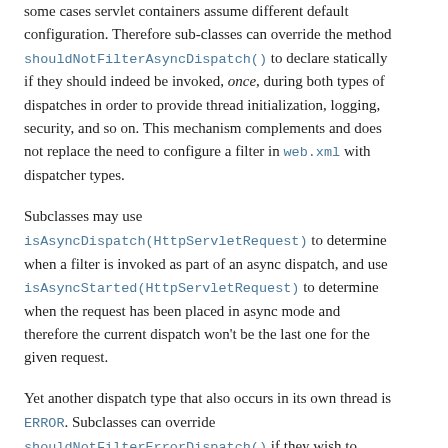some cases servlet containers assume different default configuration. Therefore sub-classes can override the method shouldNotFilterAsyncDispatch() to declare statically if they should indeed be invoked, once, during both types of dispatches in order to provide thread initialization, logging, security, and so on. This mechanism complements and does not replace the need to configure a filter in web.xml with dispatcher types.
Subclasses may use isAsyncDispatch(HttpServletRequest) to determine when a filter is invoked as part of an async dispatch, and use isAsyncStarted(HttpServletRequest) to determine when the request has been placed in async mode and therefore the current dispatch won't be the last one for the given request.
Yet another dispatch type that also occurs in its own thread is ERROR. Subclasses can override shouldNotFilterErrorDispatch() if they wish to declare statically if they should be invoked once during error dispatches.